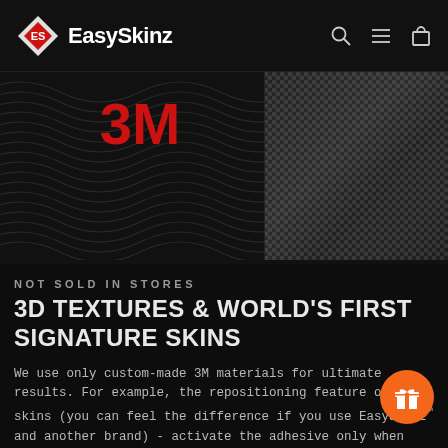EasySkinz
[Figure (photo): Hero image showing two textures side by side: left side is a dark wavy/chevron pattern with red 3M logo visible at top, right side is a metallic carbon fiber weave texture]
NOT SOLD IN STORES
3D TEXTURES & WORLD'S FIRST SIGNATURE SKINS
We use only custom-made 3M materials for ultimate results. For example, the repositioning feature of our skins (you can feel the difference if you use EasySkinz™ and another brand) - activate the adhesive only when the correct position is achi... We also offer ultra-premium real 3D Textured - you will find those designs in our LUXURIA Collection. We can't stop here, though. EasySkinz™